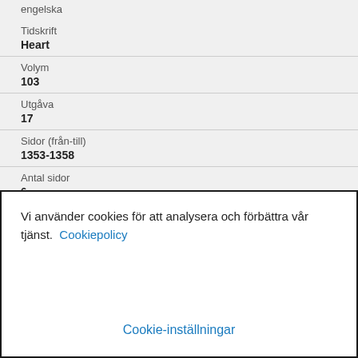engelska
| Tidskrift | Heart |
| Volym | 103 |
| Utgåva | 17 |
| Sidor (från-till) | 1353-1358 |
| Antal sidor | 6 |
Vi använder cookies för att analysera och förbättra vår tjänst. Cookiepolicy
Cookie-inställningar